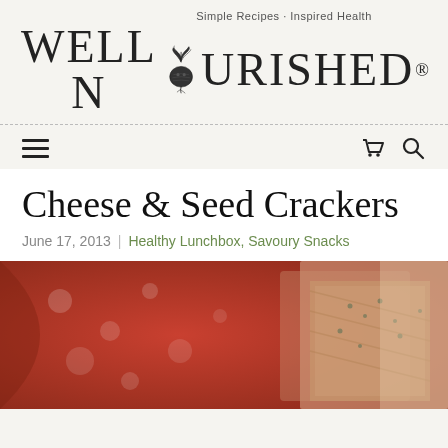WELL NOURISHED — Simple Recipes · Inspired Health
Cheese & Seed Crackers
June 17, 2013 | Healthy Lunchbox, Savoury Snacks
[Figure (photo): Close-up photo of cheese and seed crackers on a red patterned cloth/napkin, blurred background]